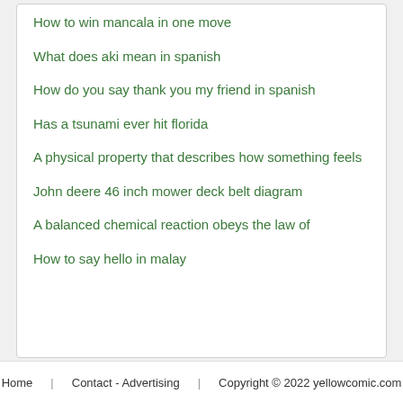How to win mancala in one move
What does aki mean in spanish
How do you say thank you my friend in spanish
Has a tsunami ever hit florida
A physical property that describes how something feels
John deere 46 inch mower deck belt diagram
A balanced chemical reaction obeys the law of
How to say hello in malay
Home   Contact - Advertising   Copyright © 2022 yellowcomic.com